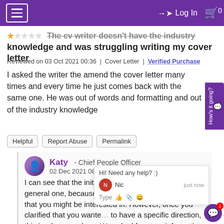≡  → Log In  🛒 0
The cv writer doesn't have the industry knowledge and was struggling writing my cover letter
Reviewed on 03 Oct 2021 00:36 | Cover Letter | Verified Purchase
I asked the writer the amend the cover letter many times and every time he just comes back with the same one. He was out of words and formatting and out of the industry knowledge
Helpful | Report Abuse | Permalink
Katy  -  Chief People Officer
02 Dec 2021 08:46
I can see that the initial cover letter was provided as a general one, because you mentioned several different roles that you might be interested in. However, once you clarified that you wanted to have a specific direction, this is what was done. We asked for more information from you, and even gave you a call to discuss this, after which you sent in some